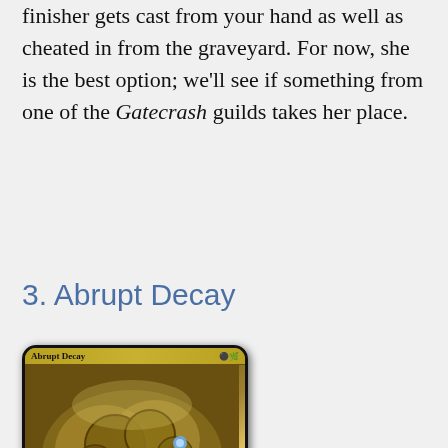finisher gets cast from your hand as well as cheated in from the graveyard. For now, she is the best option; we'll see if something from one of the Gatecrash guilds takes her place.
3. Abrupt Decay
[Figure (photo): Magic: The Gathering card 'Abrupt Decay' — a gold-bordered instant card with art depicting mechanical/steampunk creatures, card text: 'Abrupt Decay can't be countered by spells or abilities. Destroy target nonland permanent with converted mana cost 3 or less.' Flavor text: 'The Izzet quickly suspended their policy of lifetime guarantees.']